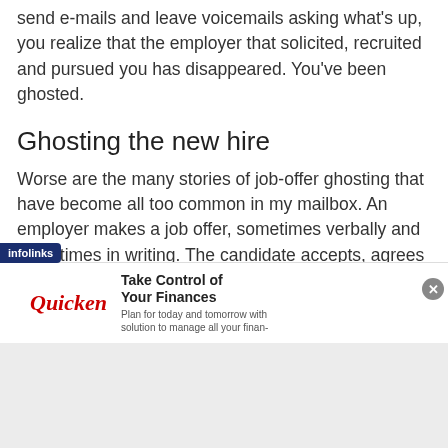send e-mails and leave voicemails asking what's up, you realize that the employer that solicited, recruited and pursued you has disappeared. You've been ghosted.
Ghosting the new hire
Worse are the many stories of job-offer ghosting that have become all too common in my mailbox. An employer makes a job offer, sometimes verbally and sometimes in writing. The candidate accepts, agrees to a start date, quits their old job and gives notice, and in some cases travels and relocates across the
[Figure (other): Quicken advertisement banner: 'Take Control of Your Finances - Plan for today and tomorrow with solution to manage all your finan-' with Quicken logo in red italic text, with infolinks badge on left and close button on right]